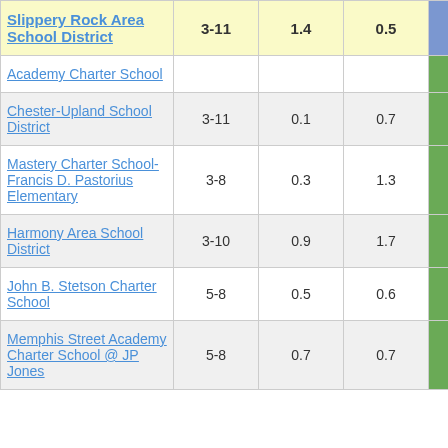| Name | Grades | Col3 | Col4 | Score |
| --- | --- | --- | --- | --- |
| Slippery Rock Area School District | 3-11 | 1.4 | 0.5 | 2.68 |
| Academy Charter School |  |  |  |  |
| Chester-Upland School District | 3-11 | 0.1 | 0.7 | 0.10 |
| Mastery Charter School-Francis D. Pastorius Elementary | 3-8 | 0.3 | 1.3 | 0.24 |
| Harmony Area School District | 3-10 | 0.9 | 1.7 | 0.55 |
| John B. Stetson Charter School | 5-8 | 0.5 | 0.6 | 0.78 |
| Memphis Street Academy Charter School @ JP Jones | 5-8 | 0.7 | 0.7 | 0.92 |